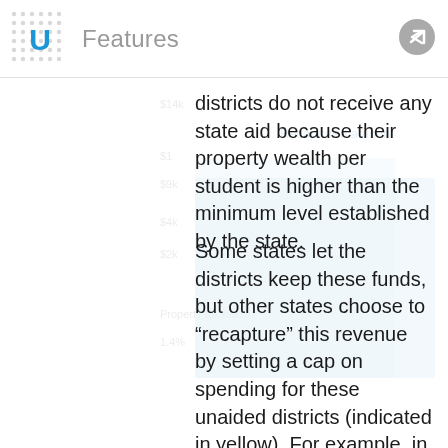Features
districts do not receive any state aid because their property wealth per student is higher than the minimum level established by the state.
Some states let the districts keep these funds, but other states choose to “recapture” this revenue by setting a cap on spending for these unaided districts (indicated in yellow). For example, in our power equalization model, we can decide that any local funds raised above $6,000 are recaptured by the state.